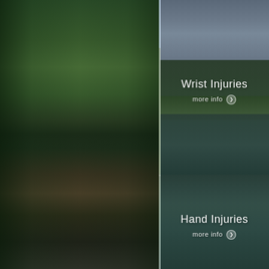[Figure (photo): Left column: dark forest and river scene with tall conifers and rocky riverbank]
[Figure (photo): Center top panel: forest river landscape with overcast sky and conifer trees, labeled Wrist Injuries]
Wrist Injuries
more info ❯
[Figure (photo): Center bottom panel: flowing river with rocks and trees, labeled Hand Injuries]
Hand Injuries
more info ❯
[Figure (photo): Right column: bright sunlit forest with tall conifers, blue sky, and green river pool]